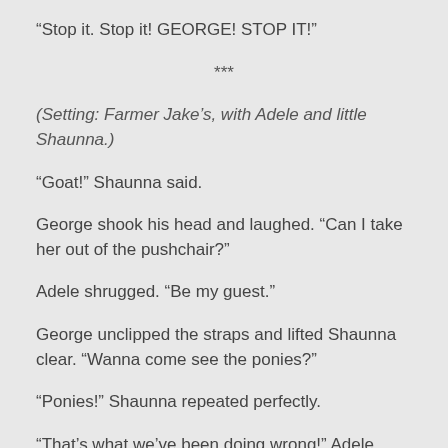“Stop it. Stop it! GEORGE! STOP IT!”
***
(Setting: Farmer Jake’s, with Adele and little Shaunna.)
“Goat!” Shaunna said.
George shook his head and laughed. “Can I take her out of the pushchair?”
Adele shrugged. “Be my guest.”
George unclipped the straps and lifted Shaunna clear. “Wanna come see the ponies?”
“Ponies!” Shaunna repeated perfectly.
“That’s what we’ve been doing wrong!” Adele said. “All those